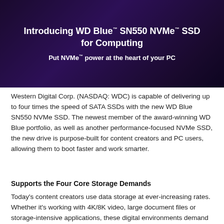[Figure (illustration): Dark purple background banner with white bold text introducing the WD Blue SN550 NVMe SSD for Computing, with an image of the SSD drive partially visible at the top right. Tagline: Put NVMe power at the heart of your PC.]
Western Digital Corp. (NASDAQ: WDC) is capable of delivering up to four times the speed of SATA SSDs with the new WD Blue SN550 NVMe SSD. The newest member of the award-winning WD Blue portfolio, as well as another performance-focused NVMe SSD, the new drive is purpose-built for content creators and PC users, allowing them to boot faster and work smarter.
Supports the Four Core Storage Demands
Today's content creators use data storage at ever-increasing rates. Whether it's working with 4K/8K video, large document files or storage-intensive applications, these digital environments demand reliable performance